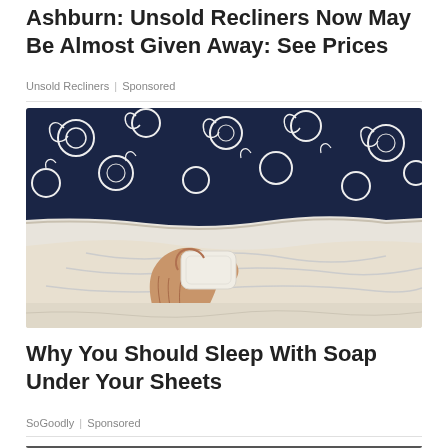Ashburn: Unsold Recliners Now May Be Almost Given Away: See Prices
Unsold Recliners | Sponsored
[Figure (photo): A person's hand holding a bar of soap under white bed sheets with a blue and white patterned duvet or pillow visible in the background.]
Why You Should Sleep With Soap Under Your Sheets
SoGoodly | Sponsored